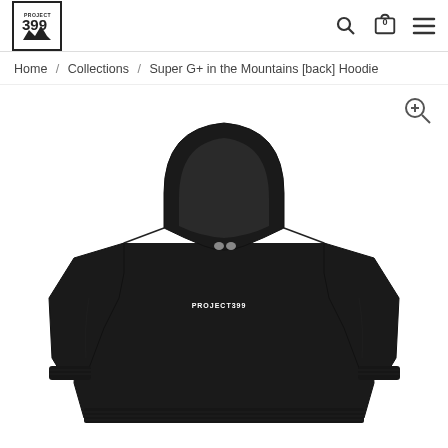Project 399 logo, search icon, cart icon (0), menu icon
Home / Collections / Super G+ in the Mountains [back] Hoodie
[Figure (photo): Black pullover hoodie displayed on a white background, front view showing hood, kangaroo pocket area, and long sleeves. Small white text 'PROJECT399' printed on the left chest area.]